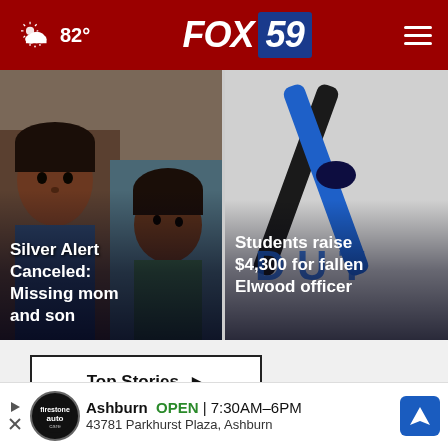FOX 59 | 82°
[Figure (screenshot): News card: Silver Alert Canceled: Missing mom and son — photo of a young boy and a baby]
[Figure (screenshot): News card: Students raise $4,300 for fallen Elwood officer — photo of a thin blue line ribbon on fabric]
Top Stories ▶
[Figure (other): Advertisement: Firestone Auto Care – Ashburn OPEN 7:30AM–6PM, 43781 Parkhurst Plaza, Ashburn]